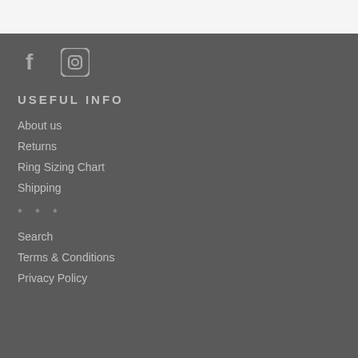[Figure (logo): Facebook and Instagram social media icons in gray/white on dark gray background]
USEFUL INFO
About us
Returns
Ring Sizing Chart
Shipping
* * *
Search
Terms & Conditions
Privacy Policy